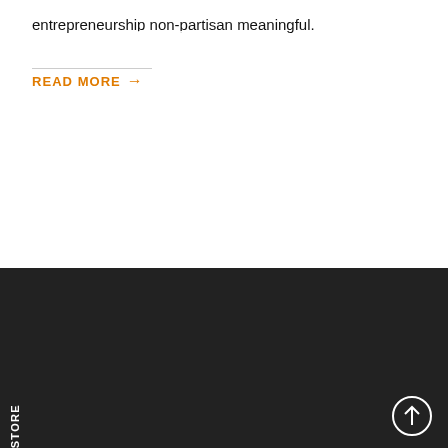entrepreneurship non-partisan meaningful.
READ MORE →
STORE * CONTACT US
Tarneit Melbourne, VIC, Australia 3029
contact@indianstylishboutique.com.au
+61 469 779 145